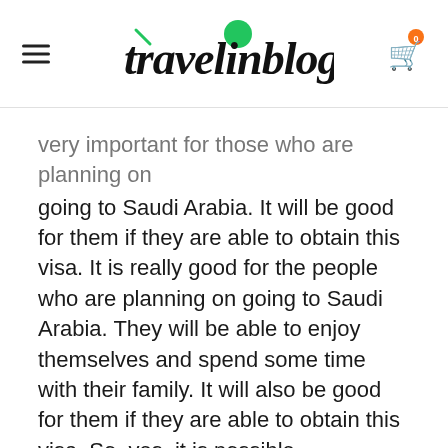travelinblogs
very important for those who are planning on going to Saudi Arabia. It will be good for them if they are able to obtain this visa. It is really good for the people who are planning on going to Saudi Arabia. They will be able to enjoy themselves and spend some time with their family. It will also be good for them if they are able to obtain this visa. So, yes, it is possible.

There are some people who will be able to obtain this visa. To be able to do so, they will have to get a very strong invitation from the